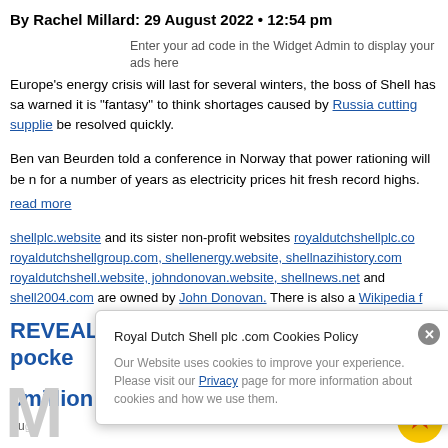By Rachel Millard: 29 August 2022 • 12:54 pm
Enter your ad code in the Widget Admin to display your ads here
Europe's energy crisis will last for several winters, the boss of Shell has sa... warned it is "fantasy" to think shortages caused by Russia cutting supplie... be resolved quickly.
Ben van Beurden told a conference in Norway that power rationing will be n... for a number of years as electricity prices hit fresh record highs.
read more
shellplc.website and its sister non-profit websites royaldutchshellplc.co... royaldutchshellgroup.com, shellenergy.website, shellnazihistory.com... royaldutchshell.website, johndonovan.website, shellnews.net and shell2004.com are owned by John Donovan. There is also a Wikipedia f...
REVEALED: UK 'fat cat' power bosses pocke... £... million last year
Aug...
[Figure (screenshot): Cookie consent popup: 'Royal Dutch Shell plc .com Cookies Policy' with close button, text about website cookies and a Privacy link.]